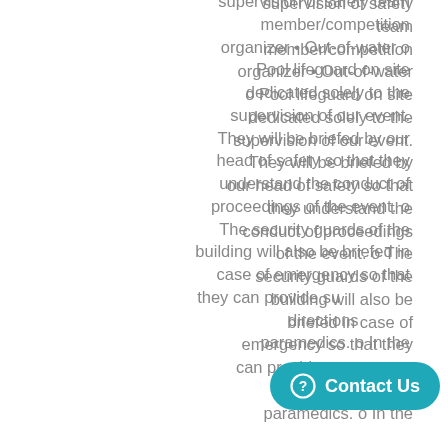supervision of safety team member/competition organizer • Out-of-water o Pool lifeguard on site dedicated solely to the supervision of our event. They will be briefed by our head of safety so that they understand the conduct of proceedings of the event. o The security guards of the building will also be briefed in case of emergency so that they can provide support and directions for the paramedics. o In the